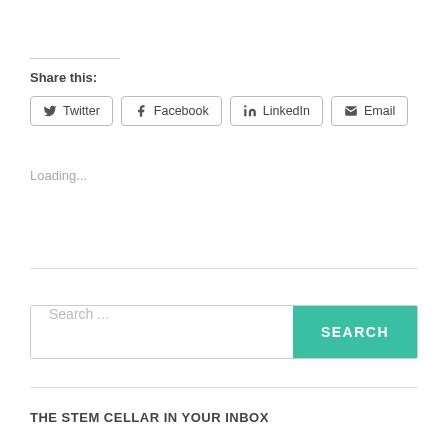Share this:
Twitter | Facebook | LinkedIn | Email
Loading...
Search ...
THE STEM CELLAR IN YOUR INBOX